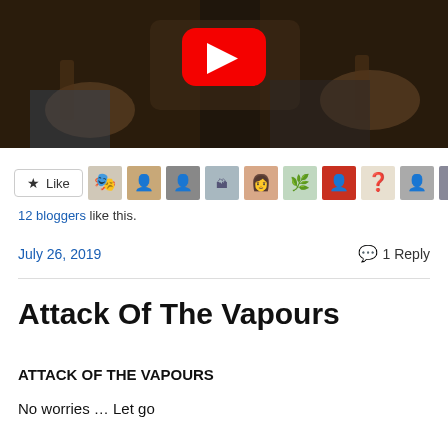[Figure (screenshot): YouTube video thumbnail showing musicians playing guitars in a dark setting, with red YouTube play button overlay]
[Figure (screenshot): Like button row with star Like button and 12 avatar thumbnails of bloggers]
12 bloggers like this.
July 26, 2019   1 Reply
Attack Of The Vapours
ATTACK OF THE VAPOURS
No worries … Let go